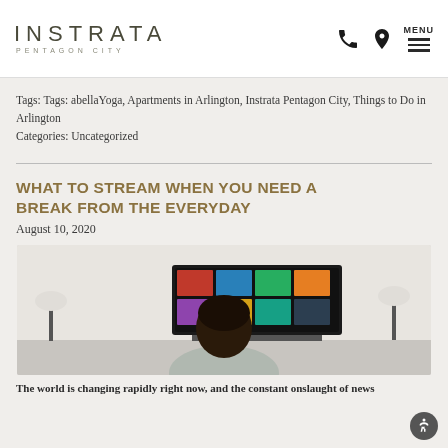INSTRATA PENTAGON CITY
Tags: Tags: abellaYoga, Apartments in Arlington, Instrata Pentagon City, Things to Do in Arlington
Categories: Uncategorized
WHAT TO STREAM WHEN YOU NEED A BREAK FROM THE EVERYDAY
August 10, 2020
[Figure (photo): Person seen from behind sitting in front of a large smart TV displaying a streaming service interface with multiple show thumbnails in a living room setting]
The world is changing rapidly right now, and the constant onslaught of news